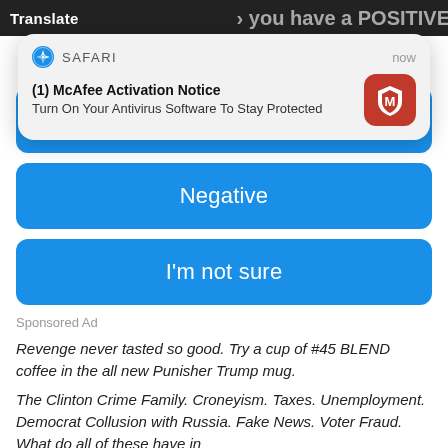[Figure (screenshot): Safari browser notification overlay showing McAfee Activation Notice on top of a webpage with blue buttons labeled Positive, Negative, I'm not sure, a Sponsored Ad label, and italic article text about political topics]
(1) McAfee Activation Notice
Turn On Your Antivirus Software To Stay Protected
Positive
Negative
I'm not sure
Sponsored Ad
Revenge never tasted so good. Try a cup of #45 BLEND coffee in the all new Punisher Trump mug.
The Clinton Crime Family. Croneyism. Taxes. Unemployment. Democrat Collusion with Russia. Fake News. Voter Fraud. What do all of these have in